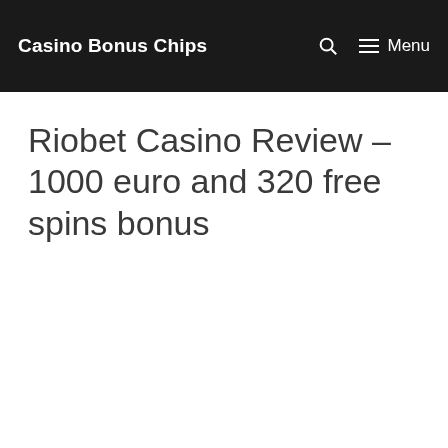Casino Bonus Chips  Menu
Riobet Casino Review – 1000 euro and 320 free spins bonus